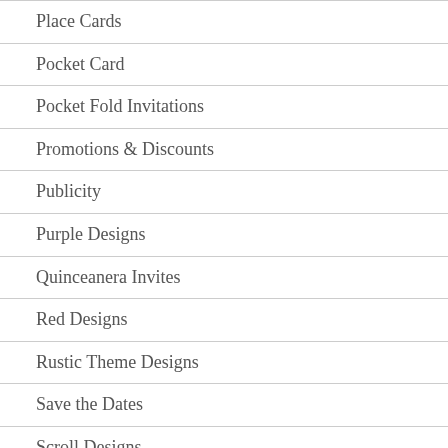Place Cards
Pocket Card
Pocket Fold Invitations
Promotions & Discounts
Publicity
Purple Designs
Quinceanera Invites
Red Designs
Rustic Theme Designs
Save the Dates
Scroll Designs
Shower Invitations
Silver Designs